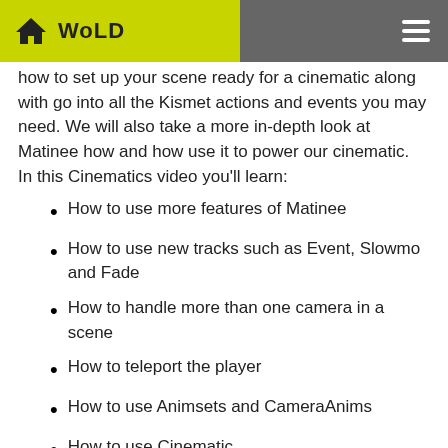WoLD
how to set up your scene ready for a cinematic along with go into all the Kismet actions and events you may need. We will also take a more in-depth look at Matinee how and how use it to power our cinematic.
In this Cinematics video you'll learn:
How to use more features of Matinee
How to use new tracks such as Event, Slowmo and Fade
How to handle more than one camera in a scene
How to teleport the player
How to use Animsets and CameraAnims
How to use Cinematic